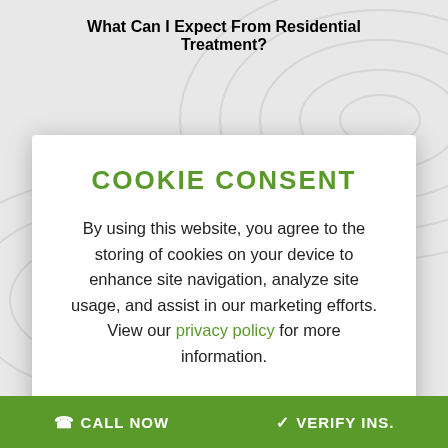What Can I Expect From Residential Treatment?
COOKIE CONSENT
By using this website, you agree to the storing of cookies on your device to enhance site navigation, analyze site usage, and assist in our marketing efforts. View our privacy policy for more information.
✓ OKAY
CALL NOW   VERIFY INS.